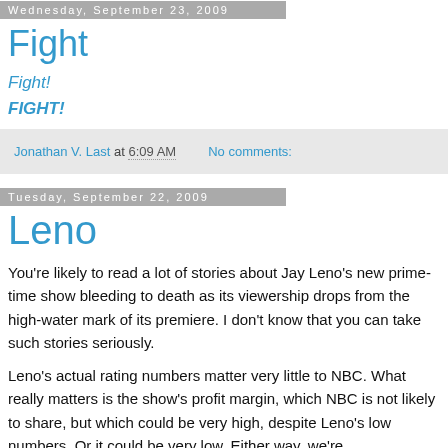Wednesday, September 23, 2009
Fight
Fight!
FIGHT!
Jonathan V. Last at 6:09 AM   No comments:
Tuesday, September 22, 2009
Leno
You're likely to read a lot of stories about Jay Leno's new prime-time show bleeding to death as its viewership drops from the high-water mark of its premiere. I don't know that you can take such stories seriously.
Leno's actual rating numbers matter very little to NBC. What really matters is the show's profit margin, which NBC is not likely to share, but which could be very high, despite Leno's low numbers. Or it could be very low. Either way, we're